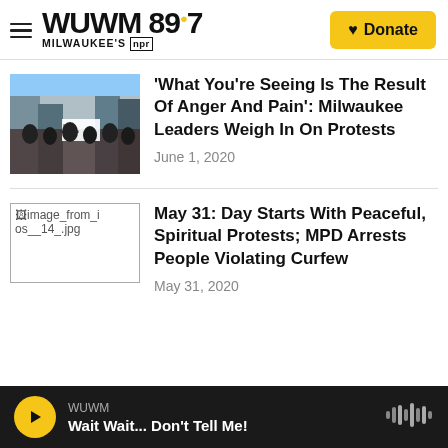WUWM 89.7 MILWAUKEE'S NPR — Donate
[Figure (photo): Protest march with crowd holding signs including 'OUR FUTURES']
'What You're Seeing Is The Result Of Anger And Pain': Milwaukee Leaders Weigh In On Protests
June 1, 2020
[Figure (photo): Broken image placeholder: image_from_ios__14_.jpg]
May 31: Day Starts With Peaceful, Spiritual Protests; MPD Arrests People Violating Curfew
May 31, 2020
WUWM — Wait Wait... Don't Tell Me!